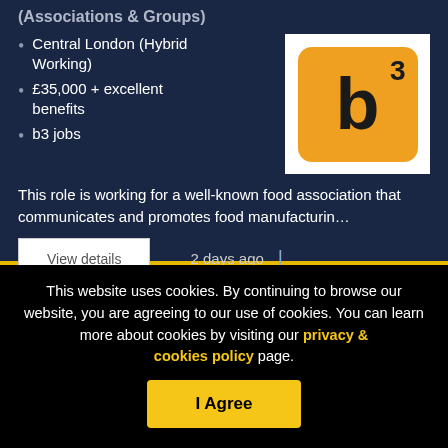(Associations & Groups)
Central London (Hybrid Working)
£35,000 + excellent benefits
b3 jobs
[Figure (logo): b3 jobs logo — orange rounded square with bold letter b and superscript 3]
This role is working for a well-known food association that communicates and promotes food manufacturin…
View details
2 days ago |
This website uses cookies. By continuing to browse our website, you are agreeing to our use of cookies. You can learn more about cookies by visiting our privacy & cookies policy page.
I Agree